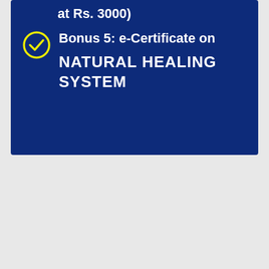at Rs. 3000)
Bonus 5: e-Certificate on NATURAL HEALING SYSTEM